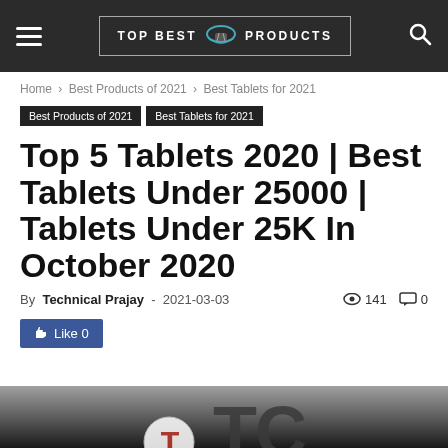TOP BEST PRODUCTS
Home › Best Products of 2021 › Best Tablets for 2021
Best Products of 2021
Best Tablets for 2021
Top 5 Tablets 2020 | Best Tablets Under 25000 | Tablets Under 25K In October 2020
By Technical Prajay - 2021-03-03   141   0
Like 0
[Figure (photo): Partial image strip at bottom showing TBP logo letters on dark gradient background]